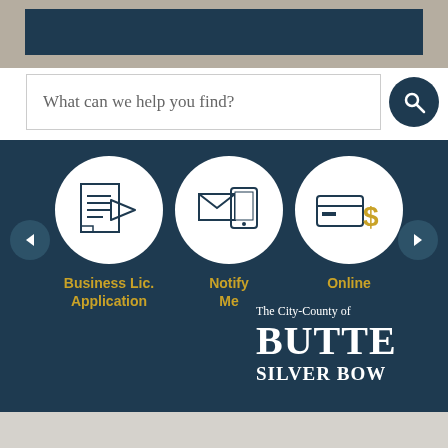[Figure (screenshot): Top banner area with dark teal inner bar on beige/tan background]
What can we help you find?
[Figure (infographic): Three circular icons on dark teal background with navigation arrows: Business Lic. Application (document with arrow), Notify Me (envelope and phone), Online Payments (credit card and dollar sign). Left and right navigation arrow buttons.]
[Figure (logo): The City-County of BUTTE SILVER BOW logo on dark teal background]